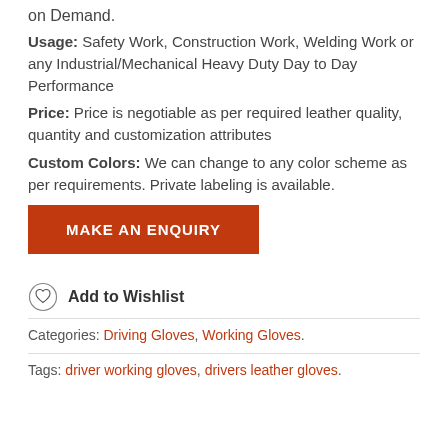on Demand.
Usage: Safety Work, Construction Work, Welding Work or any Industrial/Mechanical Heavy Duty Day to Day Performance
Price: Price is negotiable as per required leather quality, quantity and customization attributes
Custom Colors: We can change to any color scheme as per requirements. Private labeling is available.
MAKE AN ENQUIRY
Add to Wishlist
Categories: Driving Gloves, Working Gloves.
Tags: driver working gloves, drivers leather gloves.